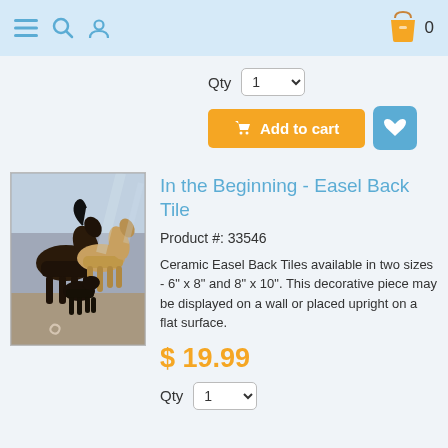Navigation bar with menu, search, user icons and shopping cart (0 items)
Qty 1
Add to cart
[Figure (photo): Painting of three horses running — a dark brown horse, a tan horse, and a small dark foal — against a bluish abstract background with a spiral motif at the bottom.]
In the Beginning - Easel Back Tile
Product #: 33546
Ceramic Easel Back Tiles available in two sizes - 6" x 8" and 8" x 10". This decorative piece may be displayed on a wall or placed upright on a flat surface.
$ 19.99
Qty 1